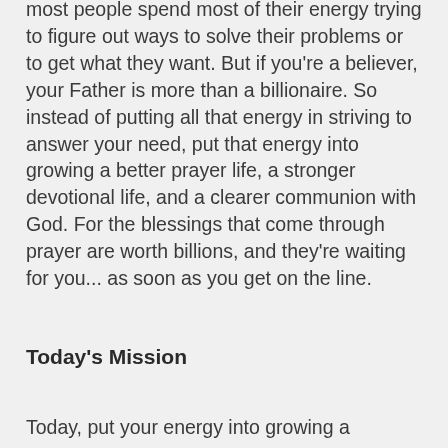most people spend most of their energy trying to figure out ways to solve their problems or to get what they want. But if you're a believer, your Father is more than a billionaire. So instead of putting all that energy in striving to answer your need, put that energy into growing a better prayer life, a stronger devotional life, and a clearer communion with God. For the blessings that come through prayer are worth billions, and they're waiting for you... as soon as you get on the line.
Today's Mission
Today, put your energy into growing a